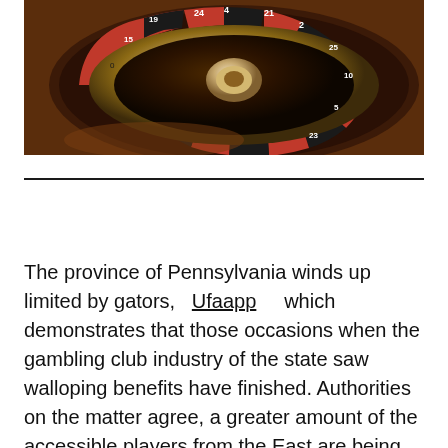[Figure (photo): Close-up photograph of a roulette wheel showing red and black numbered slots with a metallic spinning hub in the center, set on a brown wooden casino table.]
The province of Pennsylvania winds up limited by gators,   Ufaapp    which demonstrates that those occasions when the gambling club industry of the state saw walloping benefits have finished. Authorities on the matter agree, a greater amount of the accessible players from the East are being